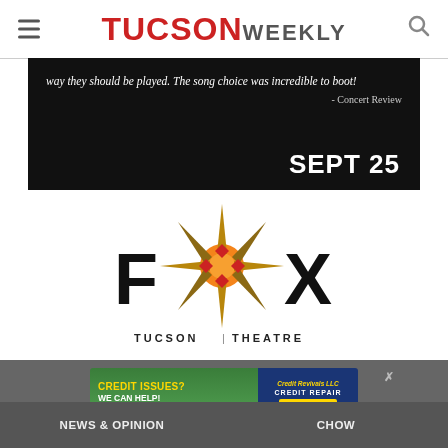TUCSON WEEKLY
[Figure (illustration): Fox Tucson Theatre advertisement: black banner with quote 'way they should be played. The song choice was incredible to boot!' - Concert Review, SEPT 25, followed by Fox Tucson Theatre logo]
[Figure (illustration): Credit Issues? We Can Help! Credit Repair advertisement banner]
NEWS & OPINION
CHOW